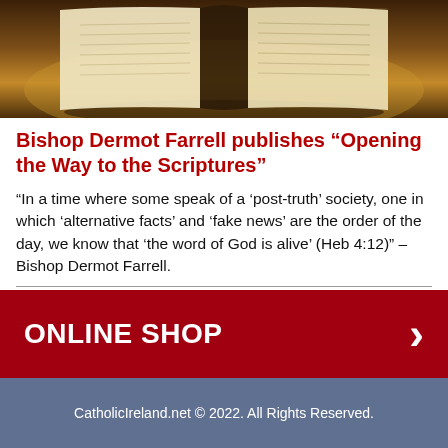[Figure (photo): Open book (Bible) photographed from above, warm brown/golden tones]
Bishop Dermot Farrell publishes “Opening the Way to the Scriptures”
“In a time where some speak of a ‘post-truth’ society, one in which ‘alternative facts’ and ‘fake news’ are the order of the day, we know that ‘the word of God is alive’ (Heb 4:12)” – Bishop Dermot Farrell.
2020.01.24.
Read more >
ONLINE SHOP
CatholicIreland.net © 2022. All Rights Reserved.